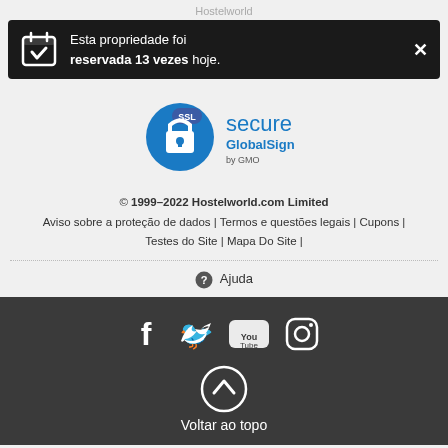Hostelworld
Esta propriedade foi reservada 13 vezes hoje.
[Figure (logo): SSL Secure GlobalSign by GMO certificate badge]
© 1999–2022 Hostelworld.com Limited
Aviso sobre a proteção de dados | Termos e questões legais | Cupons | Testes do Site | Mapa Do Site |
Ajuda
[Figure (infographic): Social media icons: Facebook, Twitter, YouTube, Instagram and back to top arrow button with text Voltar ao topo]